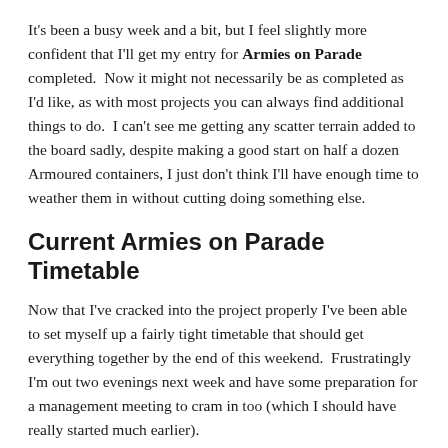It's been a busy week and a bit, but I feel slightly more confident that I'll get my entry for Armies on Parade completed.  Now it might not necessarily be as completed as I'd like, as with most projects you can always find additional things to do.  I can't see me getting any scatter terrain added to the board sadly, despite making a good start on half a dozen Armoured containers, I just don't think I'll have enough time to weather them in without cutting doing something else.
Current Armies on Parade Timetable
Now that I've cracked into the project properly I've been able to set myself up a fairly tight timetable that should get everything together by the end of this weekend.  Frustratingly I'm out two evenings next week and have some preparation for a management meeting to cram in too (which I should have really started much earlier).